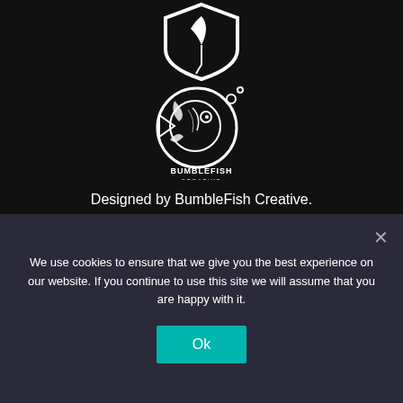[Figure (logo): Shield logo with feather/bird design in white on black background at top of page]
[Figure (logo): BumbleFish Creative logo — circular fish design with bubbles and text 'BUMBLEFISH CREATIVE' below in white on black background]
Designed by BumbleFish Creative.
© 2020 Today's Nest – All Rights Reserved.
Enter Your First Name
We use cookies to ensure that we give you the best experience on our website. If you continue to use this site we will assume that you are happy with it.